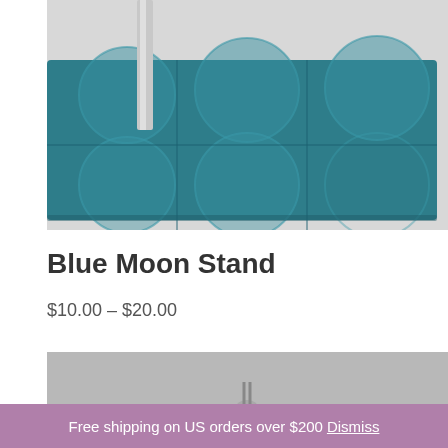[Figure (photo): Close-up photo of a teal/blue ceramic or glazed tile stand base with circular moon-like embossed patterns, with a chrome/silver metal bar inserted into it, on a white background.]
Blue Moon Stand
$10.00 – $20.00
[Figure (photo): Partially visible second product photo on a gray background.]
Free shipping on US orders over $200 Dismiss